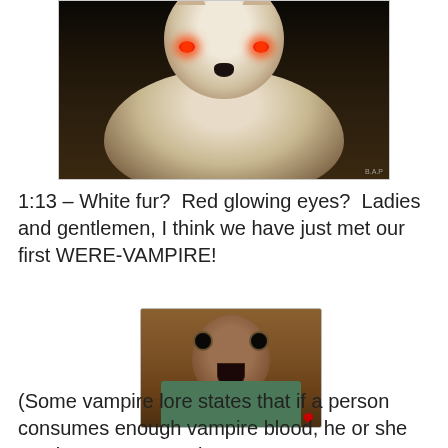[Figure (photo): A white wolf with glowing red eyes facing the camera, dark background, watermark in bottom right corner]
1:13 – White fur?  Red glowing eyes?  Ladies and gentlemen, I think we have just met our first WERE-VAMPIRE!
[Figure (photo): A small monkey or baby orangutan with wide eyes and open mouth, wearing a green knitted sweater, looking surprised]
(Some vampire lore states that if a person consumes enough vampire blood, he or she can become a vampire...